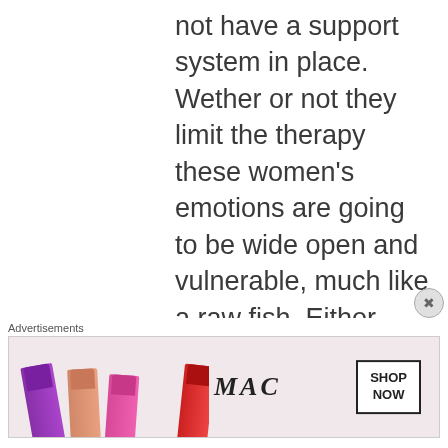not have a support system in place. Wether or not they limit the therapy these women's emotions are going to be wide open and vulnerable, much like a raw fish. Either way these said women will go home needing a support system. So why does the foundation limit so much, doesn't that
[Figure (other): MAC cosmetics advertisement banner showing lipsticks in purple, peach, pink and red colors with MAC logo and SHOP NOW button]